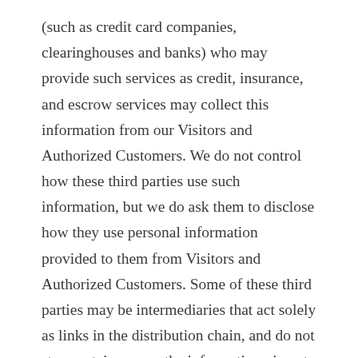(such as credit card companies, clearinghouses and banks) who may provide such services as credit, insurance, and escrow services may collect this information from our Visitors and Authorized Customers. We do not control how these third parties use such information, but we do ask them to disclose how they use personal information provided to them from Visitors and Authorized Customers. Some of these third parties may be intermediaries that act solely as links in the distribution chain, and do not store, retain, or use the information given to them.
How does the Site use Personally Identifiable Information?